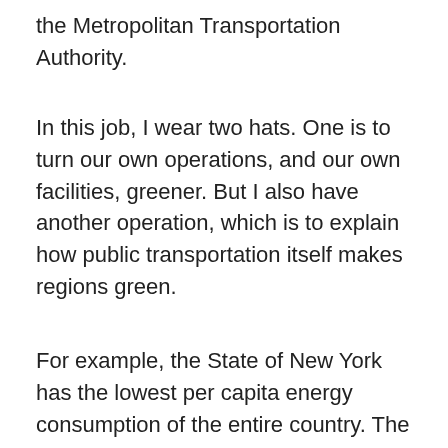the Metropolitan Transportation Authority.
In this job, I wear two hats. One is to turn our own operations, and our own facilities, greener. But I also have another operation, which is to explain how public transportation itself makes regions green.
For example, the State of New York has the lowest per capita energy consumption of the entire country. The city of New York, on a per capita basis, has about a quarter of the carbon